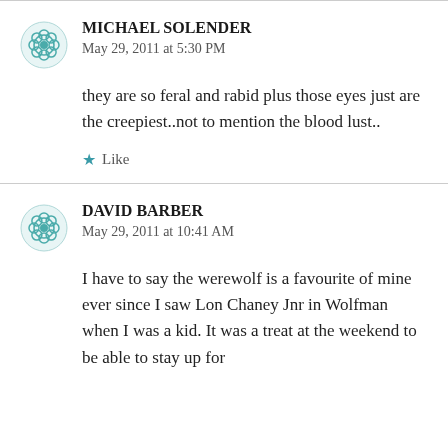MICHAEL SOLENDER
May 29, 2011 at 5:30 PM
they are so feral and rabid plus those eyes just are the creepiest..not to mention the blood lust..
★ Like
DAVID BARBER
May 29, 2011 at 10:41 AM
I have to say the werewolf is a favourite of mine ever since I saw Lon Chaney Jnr in Wolfman when I was a kid. It was a treat at the weekend to be able to stay up for